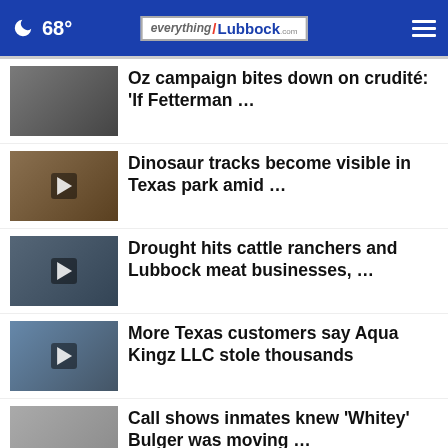68° everything/Lubbock.com
Oz campaign bites down on crudité: 'If Fetterman …
Dinosaur tracks become visible in Texas park amid …
Drought hits cattle ranchers and Lubbock meat businesses, …
More Texas customers say Aqua Kingz LLC stole thousands
Call shows inmates knew 'Whitey' Bulger was moving …
Texas flash flooding kills one, damages at least …